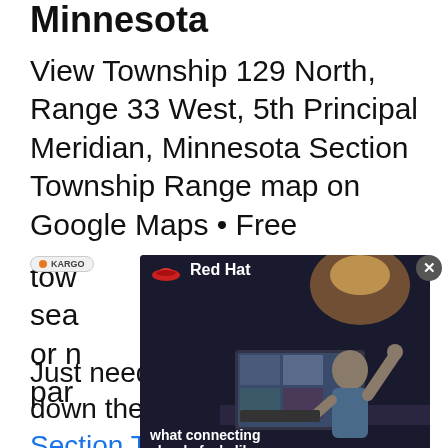Minnesota
View Township 129 North, Range 33 West, 5th Principal Meridian, Minnesota Section Township Range map on Google Maps • Free township and section map searcher or more. We have parcel
[Figure (screenshot): Red Hat advertisement overlay showing a person raising arms at a computer, with text 'what connecting clouds feels like' and Red Hat logo]
Just need an image? Scroll down the page to the Minnesota Section Township Range Map